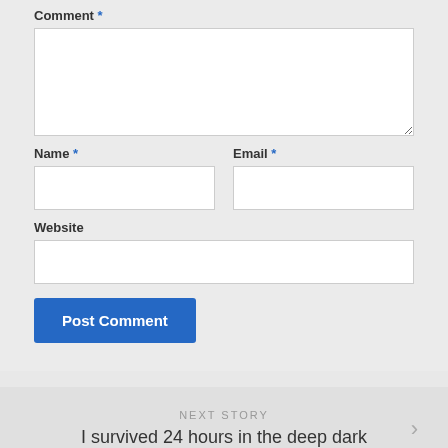Comment *
Name *
Email *
Website
Post Comment
NEXT STORY
I survived 24 hours in the deep dark